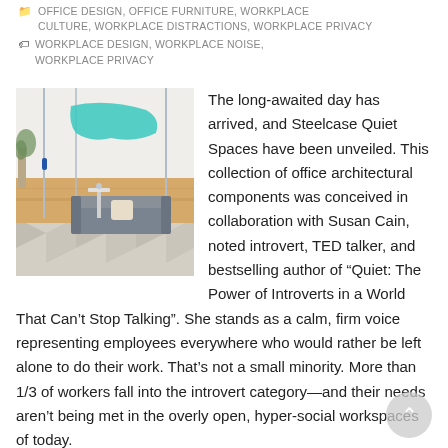OFFICE DESIGN, OFFICE FURNITURE, WORKPLACE CULTURE, WORKPLACE DISTRACTIONS, WORKPLACE PRIVACY
WORKPLACE DESIGN, WORKPLACE NOISE, WORKPLACE PRIVACY
[Figure (photo): Interior photo of a modern office quiet space/pod with glass panels, teal accent, a small gray sofa, patterned floor, and a side table.]
The long-awaited day has arrived, and Steelcase Quiet Spaces have been unveiled. This collection of office architectural components was conceived in collaboration with Susan Cain, noted introvert, TED talker, and bestselling author of “Quiet: The Power of Introverts in a World That Can’t Stop Talking”. She stands as a calm, firm voice representing employees everywhere who would rather be left alone to do their work. That’s not a small minority. More than 1/3 of workers fall into the introvert category—and their needs aren’t being met in the overly open, hyper-social workspaces of today.